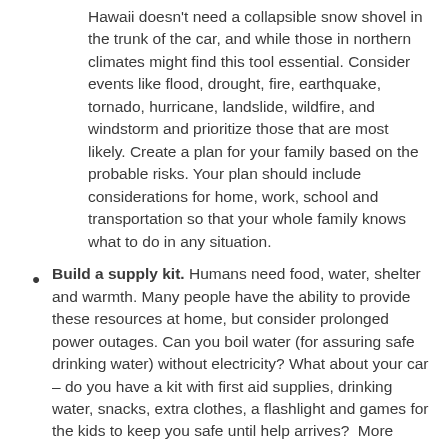Hawaii doesn't need a collapsible snow shovel in the trunk of the car, and while those in northern climates might find this tool essential. Consider events like flood, drought, fire, earthquake, tornado, hurricane, landslide, wildfire, and windstorm and prioritize those that are most likely. Create a plan for your family based on the probable risks. Your plan should include considerations for home, work, school and transportation so that your whole family knows what to do in any situation.
Build a supply kit. Humans need food, water, shelter and warmth. Many people have the ability to provide these resources at home, but consider prolonged power outages. Can you boil water (for assuring safe drinking water) without electricity? What about your car – do you have a kit with first aid supplies, drinking water, snacks, extra clothes, a flashlight and games for the kids to keep you safe until help arrives?  More information on kit recommendations can be found on FEMA's Ready website.
Maintain Situational Awareness. Situational awareness involves knowing what is going on around you. Every day we put ourselves in situations and expect them to turn out exactly how they did the last 30 times. When the